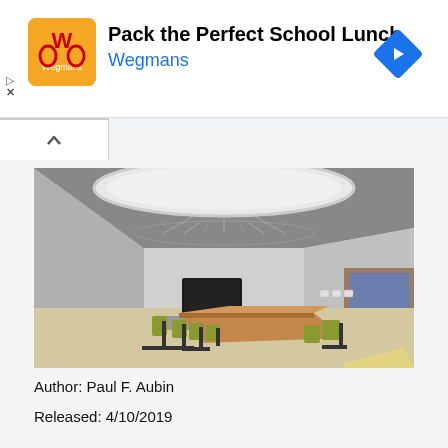[Figure (logo): Wegmans ad banner with orange logo, title 'Pack the Perfect School Lunch', subtitle 'Wegmans', and blue navigation arrow icon]
[Figure (photo): 3D rendered conference/meeting room interior with large oval ceiling light, long conference table, green chairs, wall-mounted TV, and open door on right showing blue room beyond]
Author: Paul F. Aubin
Released: 4/10/2019